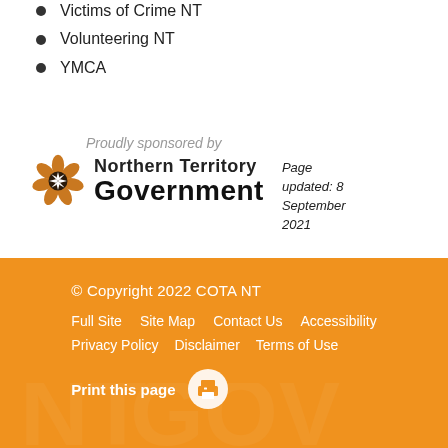Victims of Crime NT
Volunteering NT
YMCA
[Figure (logo): Northern Territory Government logo with flower/star emblem and text 'Proudly sponsored by Northern Territory Government']
Page updated: 8 September 2021
© Copyright 2022 COTA NT | Full Site | Site Map | Contact Us | Accessibility | Privacy Policy | Disclaimer | Terms of Use | Print this page